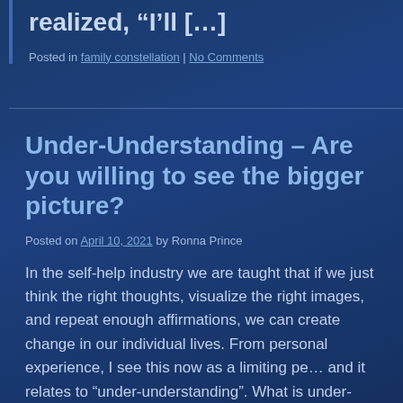realized, “I’ll […]
Posted in family constellation | No Comments
Under-Understanding – Are you willing to see the bigger picture?
Posted on April 10, 2021 by Ronna Prince
In the self-help industry we are taught that if we just think the right thoughts, visualize the right images, and repeat enough affirmations, we can create change in our individual lives. From personal experience, I see this now as a limiting perspective, and it relates to “under-understanding”. What is under-understanding? This means that we have […]